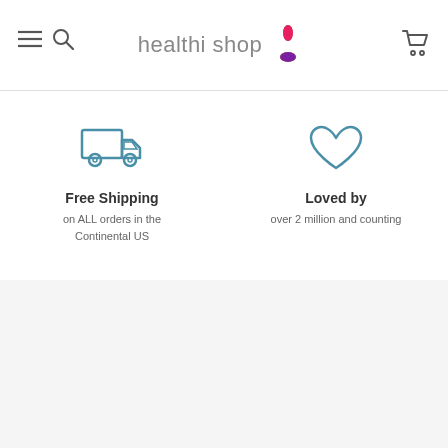healthi shop
[Figure (illustration): Delivery truck icon (outline, teal/blue color)]
Free Shipping
on ALL orders in the Continental US
[Figure (illustration): Heart icon (outline, teal/blue color)]
Loved by
over 2 million and counting